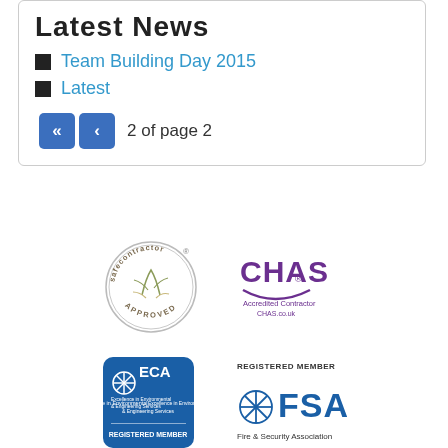Latest News
Team Building Day 2015
Latest
2 of page 2
[Figure (logo): Safecontractor Approved circular seal logo]
[Figure (logo): CHAS Accredited Contractor logo with purple text and CHAS.co.uk]
[Figure (logo): ECA Excellence in Environmental & Engineering Services Registered Member blue square logo]
[Figure (logo): FSA Fire & Security Association Registered Member logo]